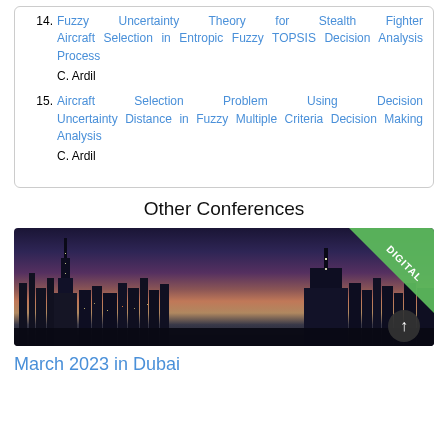14. Fuzzy Uncertainty Theory for Stealth Fighter Aircraft Selection in Entropic Fuzzy TOPSIS Decision Analysis Process — C. Ardil
15. Aircraft Selection Problem Using Decision Uncertainty Distance in Fuzzy Multiple Criteria Decision Making Analysis — C. Ardil
Other Conferences
[Figure (photo): Cityscape/skyline at dusk or night (appears to be Dubai) with a green diagonal 'DIGITAL' badge in the top-right corner and a dark circular scroll-up button at the bottom right.]
March 2023 in Dubai